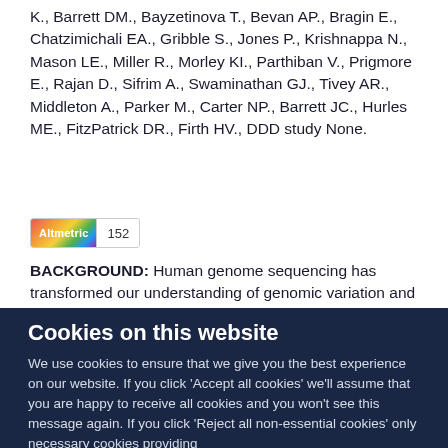K., Barrett DM., Bayzetinova T., Bevan AP., Bragin E., Chatzimichali EA., Gribble S., Jones P., Krishnappa N., Mason LE., Miller R., Morley KI., Parthiban V., Prigmore E., Rajan D., Sifrim A., Swaminathan GJ., Tivey AR., Middleton A., Parker M., Carter NP., Barrett JC., Hurles ME., FitzPatrick DR., Firth HV., DDD study None.
[Figure (other): Altmetric badge showing score of 152]
BACKGROUND: Human genome sequencing has transformed our understanding of genomic variation and its relevance to health and disease, and is now starting to enter clinical
Cookies on this website
We use cookies to ensure that we give you the best experience on our website. If you click 'Accept all cookies' we'll assume that you are happy to receive all cookies and you won't see this message again. If you click 'Reject all non-essential cookies' only necessary cookies providing